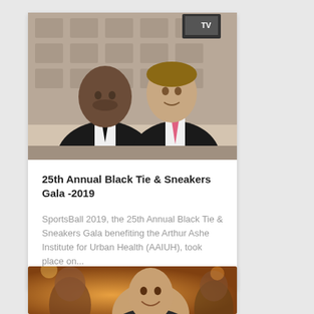[Figure (photo): Two men in formal attire posing together at an event with a backdrop featuring logos. One man is wearing a black suit and tie, the other is wearing a black suit with a pink tie.]
25th Annual Black Tie & Sneakers Gala -2019
SportsBall 2019, the 25th Annual Black Tie & Sneakers Gala benefiting the Arthur Ashe Institute for Urban Health (AAIUH), took place on...
[Figure (photo): A man in a suit smiling at an event, with other attendees visible in the background in a warmly lit venue.]